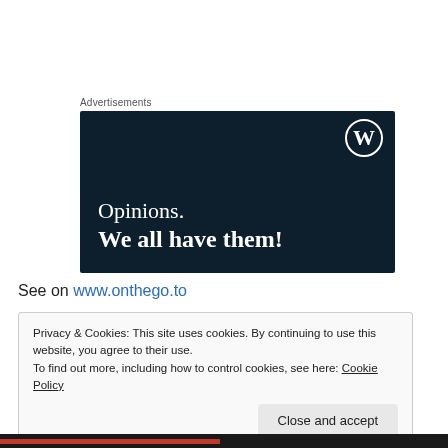Advertisements
[Figure (illustration): Dark navy blue advertisement banner with WordPress logo (W in circle) in top right corner. Text reads 'Opinions.' in regular weight serif and 'We all have them!' in bold serif, white text on dark background.]
See on www.onthego.to
Privacy & Cookies: This site uses cookies. By continuing to use this website, you agree to their use.
To find out more, including how to control cookies, see here: Cookie Policy